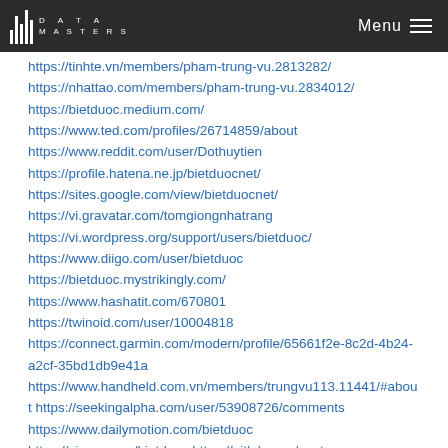DATA MASTERS | Menu
https://tinhte.vn/members/pham-trung-vu.2813282/
https://nhattao.com/members/pham-trung-vu.2834012/
https://bietduoc.medium.com/
https://www.ted.com/profiles/26714859/about
https://www.reddit.com/user/Dothuytien
https://profile.hatena.ne.jp/bietduocnet/
https://sites.google.com/view/bietduocnet/
https://vi.gravatar.com/tomgiongnhatrang
https://vi.wordpress.org/support/users/bietduoc/
https://www.diigo.com/user/bietduoc
https://bietduoc.mystrikingly.com/
https://www.hashatit.com/670801
https://twinoid.com/user/10004818
https://connect.garmin.com/modern/profile/65661f2e-8c2d-4b24-a2cf-35bd1db9e41a
https://www.handheld.com.vn/members/trungvu113.11441/#about https://seekingalpha.com/user/53908726/comments
https://www.dailymotion.com/bietduoc
https://vimeo.com/bietduoc https://gitlab.com/vupt.cpa
https://git.qt.io/Phamtrungvu